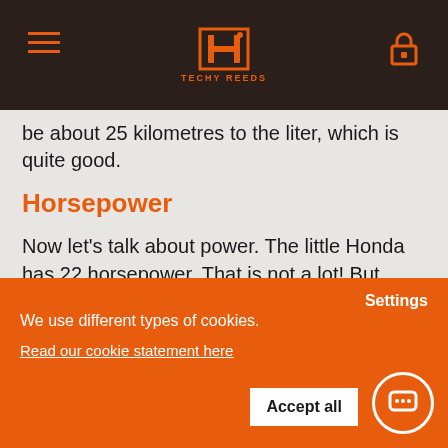Techy Reeds logo with hamburger menu and lock icon
be about 25 kilometres to the liter, which is quite good.
Horsepower
Now let's talk about power. The little Honda has 22 horsepower. That is not a lot! But don't forget she only weighs 145 kilograms. Compare this to the Royal Enfield Himalayan, that only has 2.5 horsepower more, but weighs 40 kilograms more too! That makes the Honda in
We use different types of cookies. Read our cookie statement here | Settings | Accept all